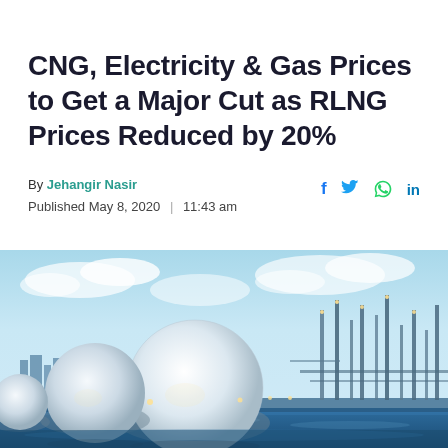CNG, Electricity & Gas Prices to Get a Major Cut as RLNG Prices Reduced by 20%
By Jehangir Nasir | Published May 8, 2020 | 11:43 am
[Figure (photo): LNG storage facility with large white spherical tanks and industrial structures illuminated at dusk against a blue sky with clouds]